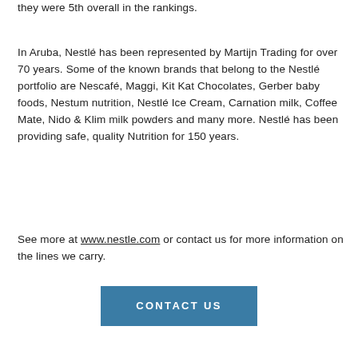they were 5th overall in the rankings.
In Aruba, Nestlé has been represented by Martijn Trading for over 70 years. Some of the known brands that belong to the Nestlé portfolio are Nescafé, Maggi, Kit Kat Chocolates, Gerber baby foods, Nestum nutrition, Nestlé Ice Cream, Carnation milk, Coffee Mate, Nido & Klim milk powders and many more. Nestlé has been providing safe, quality Nutrition for 150 years.
See more at www.nestle.com or contact us for more information on the lines we carry.
CONTACT US